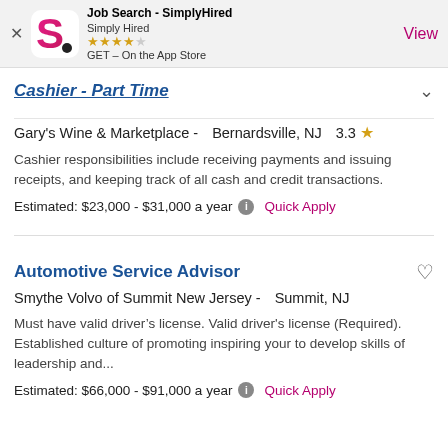[Figure (screenshot): App Store banner for Job Search - SimplyHired app, showing logo, rating stars, and View button]
Cashier - Part Time
Gary's Wine & Marketplace -  Bernardsville, NJ    3.3 ★
Cashier responsibilities include receiving payments and issuing receipts, and keeping track of all cash and credit transactions.
Estimated: $23,000 - $31,000 a year   Quick Apply
Automotive Service Advisor
Smythe Volvo of Summit New Jersey -   Summit, NJ
Must have valid driver's license. Valid driver's license (Required). Established culture of promoting inspiring your to develop skills of leadership and...
Estimated: $66,000 - $91,000 a year   Quick Apply